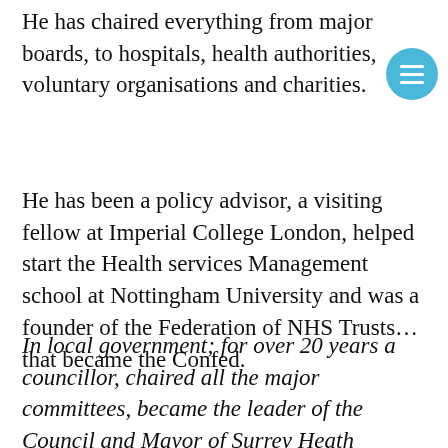He has chaired everything from major boards, to hospitals, health authorities, voluntary organisations and charities.
He has been a policy advisor, a visiting fellow at Imperial College London, helped start the Health services Management school at Nottingham University and was a founder of the Federation of NHS Trusts… that became the Confed.
In local government; for over 20 years a councillor, chaired all the major committees, became the leader of the Council and Mayor of Surrey Heath Borough Council.